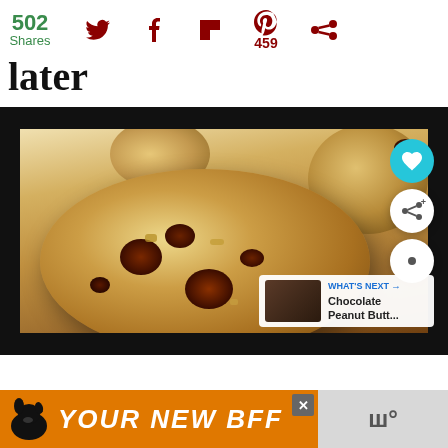502 Shares [social icons: Twitter, Facebook, Flipboard, Pinterest 459, other]
later
[Figure (photo): Close-up photo of chocolate chip cookies on parchment paper, with a heart button and share button overlay, and a 'WHAT'S NEXT → Chocolate Peanut Butt...' preview card]
[Figure (infographic): Orange advertisement banner reading YOUR NEW BFF with a dog illustration, close button, and weather widget showing temperature]